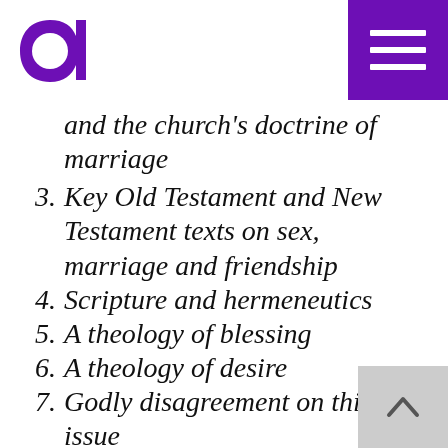[Figure (logo): Purple letter 'd' logo]
and the church's doctrine of marriage
3. Key Old Testament and New Testament texts on sex, marriage and friendship
4. Scripture and hermeneutics
5. A theology of blessing
6. A theology of desire
7. Godly disagreement on this issue
8. The case for and against same-sex marriage and/or the blessing of same-sex unions;